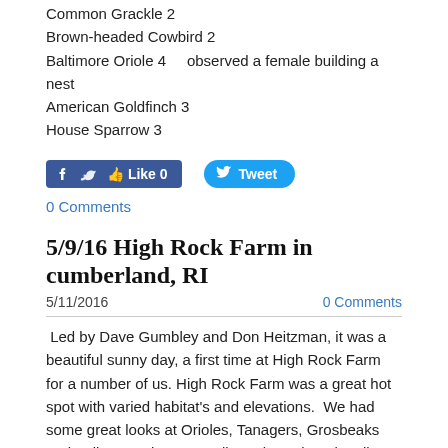Common Grackle  2
Brown-headed Cowbird  2
Baltimore Oriole  4    observed a female building a nest
American Goldfinch  3
House Sparrow  3
[Figure (other): Facebook Like button showing 0 likes and Twitter Tweet button]
0 Comments
5/9/16 High Rock Farm in cumberland, RI
5/11/2016
0 Comments
Led by Dave Gumbley and Don Heitzman, it was a beautiful sunny day, a first time at High Rock Farm for a number of us. High Rock Farm was a great hot spot with varied habitat's and elevations.  We had some great looks at Orioles, Tanagers, Grosbeaks and Indigo Buntings as well as Blue Winged, Yellow Warblers and American Redstart.  These are beautiful sightings for everyone, but especially for some of the newer birders in the group.  After most folks had departed a few of us heard a Pileated Woodpecker calling.  Well worth a revisit and only 20